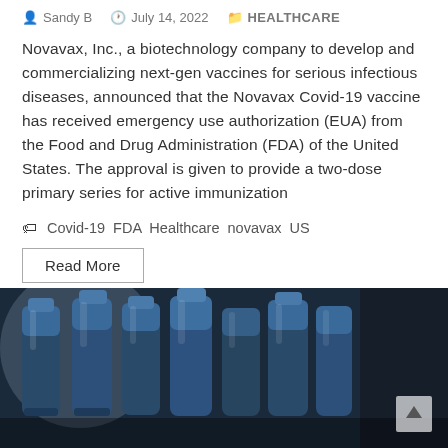Sandy B   July 14, 2022   HEALTHCARE
Novavax, Inc., a biotechnology company to develop and commercializing next-gen vaccines for serious infectious diseases, announced that the Novavax Covid-19 vaccine has received emergency use authorization (EUA) from the Food and Drug Administration (FDA) of the United States. The approval is given to provide a two-dose primary series for active immunization
Covid-19  FDA  Healthcare  novavax  US
Read More
[Figure (photo): Close-up photo of blue metallic vaccine vials or pharmaceutical equipment in a manufacturing setting, dark blue tones]